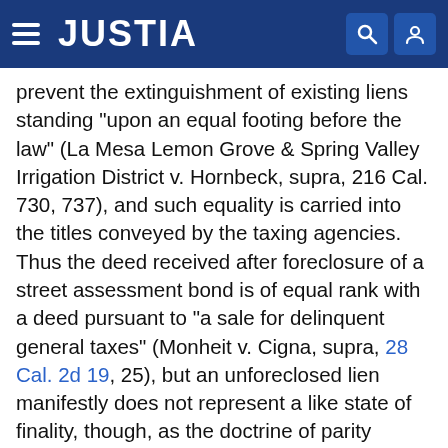JUSTIA
prevent the extinguishment of existing liens standing "upon an equal footing before the law" (La Mesa Lemon Grove & Spring Valley Irrigation District v. Hornbeck, supra, 216 Cal. 730, 737), and such equality is carried into the titles conveyed by the taxing agencies. Thus the deed received after foreclosure of a street assessment bond is of equal rank with a deed pursuant to "a sale for delinquent general taxes" (Monheit v. Cigna, supra, 28 Cal. 2d 19, 25), but an unforeclosed lien manifestly does not represent a like state of finality, though, as the doctrine of parity envisages, it may achieve such status if the holder elects to enforce it through appropriate proceedings under the law. So it is said in Monheit v. Cigna, supra, at page 25, that "in order to preserve the priority of a right (here to preserve parity) a lien is not considered merged by a subsequent transaction." Such principle coincides with the earlier decisions of this